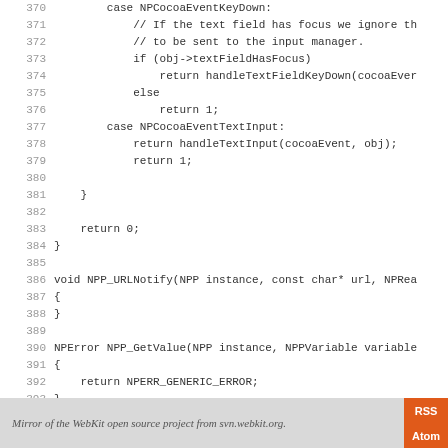Code listing lines 370-398 showing C/C++ code for NPP event handling, NPP_URLNotify, NPP_GetValue, and NPP_SetValue functions
Mirror of the WebKit open source project from svn.webkit.org.  [RSS] [Atom]